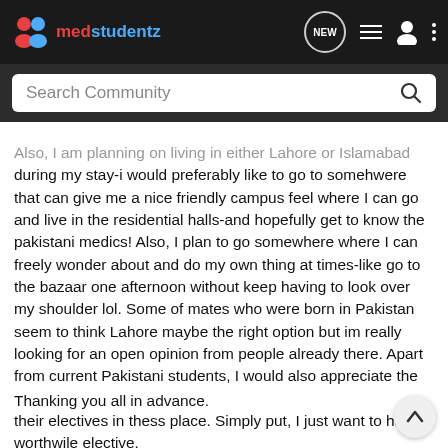medstudentz
Also, I am planning on living in either Lahore or Islamabad during my stay-i would preferably like to go to somehwere that can give me a nice friendly campus feel where I can go and live in the residential halls-and hopefully get to know the pakistani medics! Also, I plan to go somewhere where I can freely wonder about and do my own thing at times-like go to the bazaar one afternoon without keep having to look over my shoulder lol. Some of mates who were born in Pakistan seem to think Lahore maybe the right option but im really looking for an open opinion from people already there. Apart from current Pakistani students, I would also appreciate the input of any UK/other foreign medics who may have done their electives in thess place. Simply put, I just want to have a worthwile elective.
Thanking you all in advance.